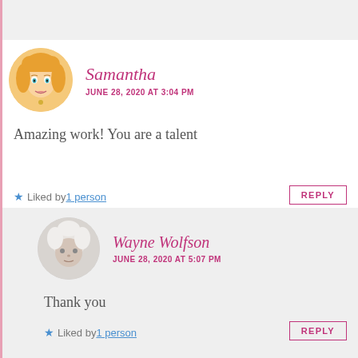[Figure (illustration): Avatar of Samantha - cartoon blonde woman with teal eyes]
Samantha
JUNE 28, 2020 AT 3:04 PM
Amazing work! You are a talent
★ Liked by 1 person
REPLY
[Figure (photo): Avatar of Wayne Wolfson - elderly man with white/gray hair]
Wayne Wolfson
JUNE 28, 2020 AT 5:07 PM
Thank you
★ Liked by 1 person
REPLY